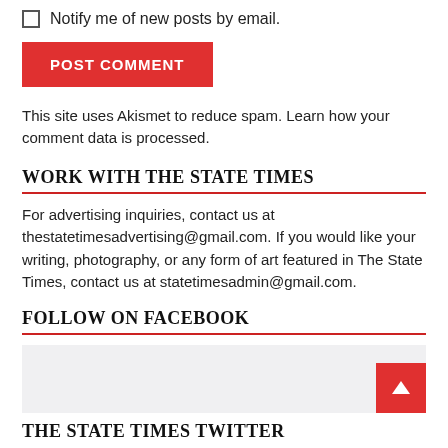Notify me of new posts by email.
POST COMMENT
This site uses Akismet to reduce spam. Learn how your comment data is processed.
WORK WITH THE STATE TIMES
For advertising inquiries, contact us at thestatetimesadvertising@gmail.com. If you would like your writing, photography, or any form of art featured in The State Times, contact us at statetimesadmin@gmail.com.
FOLLOW ON FACEBOOK
[Figure (other): Facebook follow widget placeholder box with back-to-top arrow button]
THE STATE TIMES TWITTER